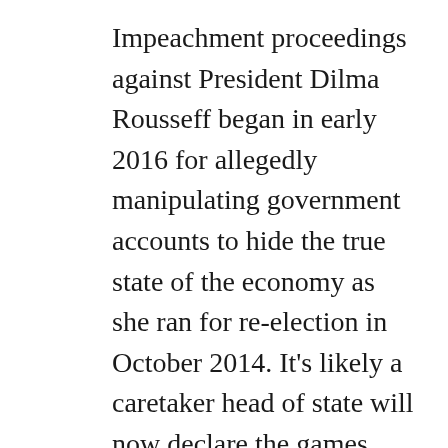Impeachment proceedings against President Dilma Rousseff began in early 2016 for allegedly manipulating government accounts to hide the true state of the economy as she ran for re-election in October 2014. It's likely a caretaker head of state will now declare the games open at a ceremony beamed around the world on 5 August from the country's most well-known stadium, the Maracanã. Not far behind the security shield that will protect the Maracanã for the duration of the games, public discontent will continue. For months in the lead up to the games, teachers have been on strike because they haven't been paid; the hospital system was in crisis due